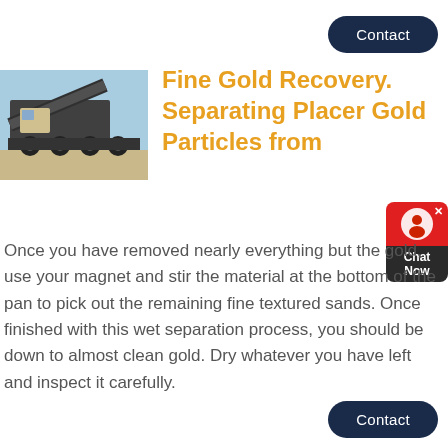Contact
[Figure (photo): A large mobile crushing/screening machine on a truck chassis, photographed outdoors against a light blue sky.]
Fine Gold Recovery. Separating Placer Gold Particles from
[Figure (other): Chat Now widget button with red top section showing a chat icon and an X close button, and dark bottom section with 'Chat Now' text.]
Once you have removed nearly everything but the gold, use your magnet and stir the material at the bottom of the pan to pick out the remaining fine textured sands. Once finished with this wet separation process, you should be down to almost clean gold. Dry whatever you have left and inspect it carefully.
Contact